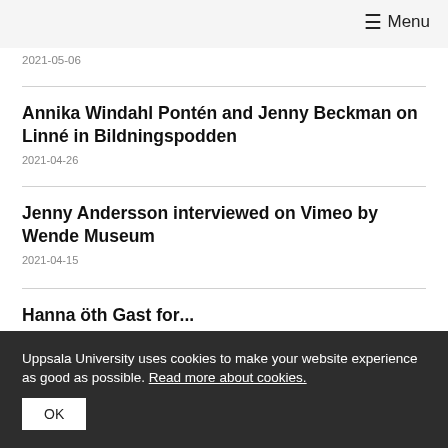≡ Menu
2021-05-06
Annika Windahl Pontén and Jenny Beckman on Linné in Bildningspodden
2021-04-26
Jenny Andersson interviewed on Vimeo by Wende Museum
2021-04-15
Hanna öth Gast for...
Uppsala University uses cookies to make your website experience as good as possible. Read more about cookies.